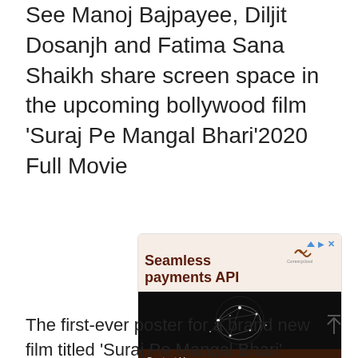See Manoj Bajpayee, Diljit Dosanjh and Fatima Sana Shaikh share screen space in the upcoming bollywood film 'Suraj Pe Mangal Bhari'2020 Full Movie
[Figure (other): Advertisement banner for 'Seamless payments API' by Currencycloud, featuring a dark globe with network connections and a 'Contact Us' button]
The first-ever poster for a brand new film titled 'Suraj Pe Mangal Bhari' released today. Directed